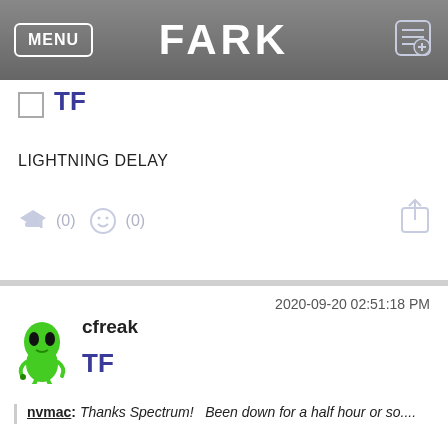MENU | FARK
TF
LIGHTNING DELAY
(0) (0)
2020-09-20 02:51:18 PM
cfreak
TF
nvmac: Thanks Spectrum!   Been down for a half hour or so....
YEA, more points!
And GB just scored!